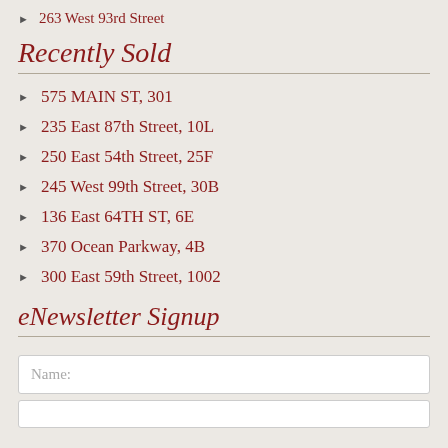263 West 93rd Street
Recently Sold
575 MAIN ST, 301
235 East 87th Street, 10L
250 East 54th Street, 25F
245 West 99th Street, 30B
136 East 64TH ST, 6E
370 Ocean Parkway, 4B
300 East 59th Street, 1002
eNewsletter Signup
Name: